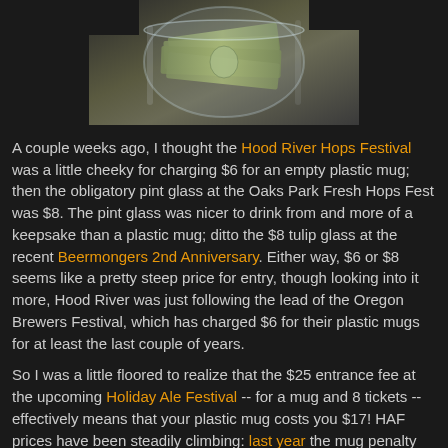[Figure (photo): Photo of a glass jar or mug filled with dollar bills and paper money]
A couple weeks ago, I thought the Hood River Hops Festival was a little cheeky for charging $6 for an empty plastic mug; then the obligatory pint glass at the Oaks Park Fresh Hops Fest was $8.  The pint glass was nicer to drink from and more of a keepsake than a plastic mug; ditto the $8 tulip glass at the recent Beermongers 2nd Anniversary.  Either way, $6 or $8 seems like a pretty steep price for entry, though looking into it more, Hood River was just following the lead of the Oregon Brewers Festival, which has charged $6 for their plastic mugs for at least the last couple of years.
So I was a little floored to realize that the $25 entrance fee at the upcoming Holiday Ale Festival -- for a mug and 8 tickets -- effectively means that your plastic mug costs you $17! HAF prices have been steadily climbing: last year the mug penalty was $15, up from $10 in 2009 and 2008, and $5 in 2007.  I guess I am going to have to add a festival category